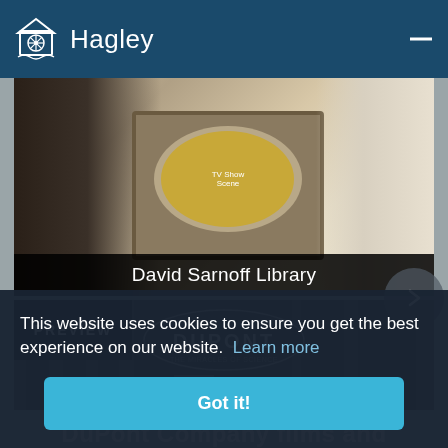Hagley
[Figure (photo): David Sarnoff Library card showing a man in a suit looking at a television set with people on screen, and a woman in a white dress, with 'David Sarnoff Library' label at bottom]
[Figure (photo): DuPont Company films preview card showing the DuPont oval logo on a dark striped background with a 'PREVIEW' badge in the upper left corner]
This website uses cookies to ensure you get the best experience on our website.  Learn more
Got it!
DuPont Company films and